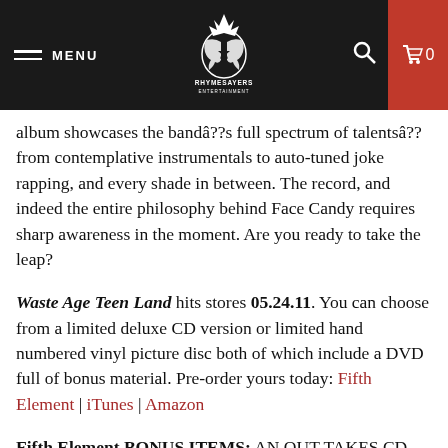MENU | RHYMESAYERS ENTERTAINMENT | 0
album showcases the bandâ??s full spectrum of talentsâ?? from contemplative instrumentals to auto-tuned joke rapping, and every shade in between. The record, and indeed the entire philosophy behind Face Candy requires sharp awareness in the moment. Are you ready to take the leap?
Waste Age Teen Land hits stores 05.24.11. You can choose from a limited deluxe CD version or limited hand numbered vinyl picture disc both of which include a DVD full of bonus material. Pre-order yours today: Fifth Element | iTunes | Amazon
Fifth Element BONUS ITEMS: AN OUT TAKES CD containing select sections from the original recordings of "Waste Age Teen Land". The first 300 come packaged in individual hand painted CD sleeves that when put